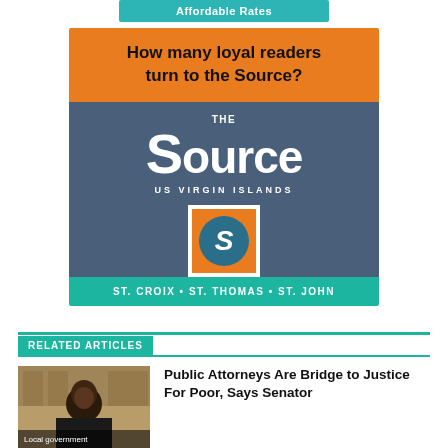[Figure (other): Partial teal banner at top reading 'Affordable Rates']
[Figure (illustration): The Source US Virgin Islands advertisement. Orange top section with text 'How many loyal readers turn to the Source?', dark blue-gray section with 'THE Source US VIRGIN ISLANDS' logo and icon, teal bottom with 'St. Croix • St. Thomas • St. John']
RELATED ARTICLES
[Figure (photo): Photo of a woman seated at what appears to be a government hearing or senate chamber. Caption reads 'Local government']
Public Attorneys Are Bridge to Justice For Poor, Says Senator